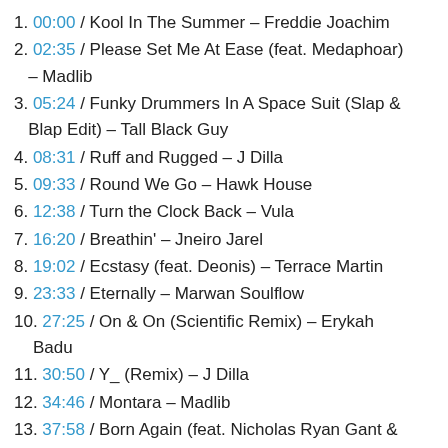1. 00:00 / Kool In The Summer – Freddie Joachim
2. 02:35 / Please Set Me At Ease (feat. Medaphoar) – Madlib
3. 05:24 / Funky Drummers In A Space Suit (Slap & Blap Edit) – Tall Black Guy
4. 08:31 / Ruff and Rugged – J Dilla
5. 09:33 / Round We Go – Hawk House
6. 12:38 / Turn the Clock Back – Vula
7. 16:20 / Breathin' – Jneiro Jarel
8. 19:02 / Ecstasy (feat. Deonis) – Terrace Martin
9. 23:33 / Eternally – Marwan Soulflow
10. 27:25 / On & On (Scientific Remix) – Erykah Badu
11. 30:50 / Y_ (Remix) – J Dilla
12. 34:46 / Montara – Madlib
13. 37:58 / Born Again (feat. Nicholas Ryan Gant & Fresh Daily) – Extra Medium
14. 41:23 / Sparkling Adventure – Tall Black Guy
15. 43:33 / Tidal Tendencies – Hawk House